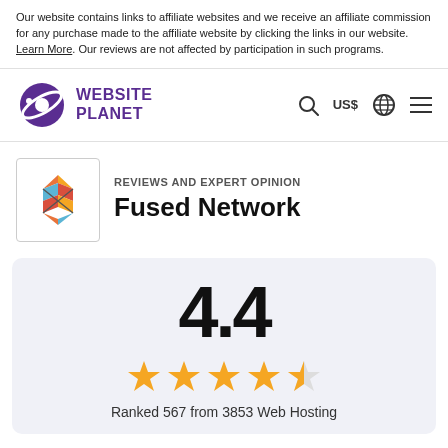Our website contains links to affiliate websites and we receive an affiliate commission for any purchase made to the affiliate website by clicking the links in our website. Learn More. Our reviews are not affected by participation in such programs.
[Figure (logo): Website Planet logo with purple planet icon and text WEBSITE PLANET]
[Figure (logo): Fused Network brand logo - geometric diamond/hourglass shape with colored lines]
REVIEWS AND EXPERT OPINION
Fused Network
4.4
[Figure (other): 4.4 out of 5 stars rating - 4 full stars and 1 half star]
Ranked 567 from 3853 Web Hosting